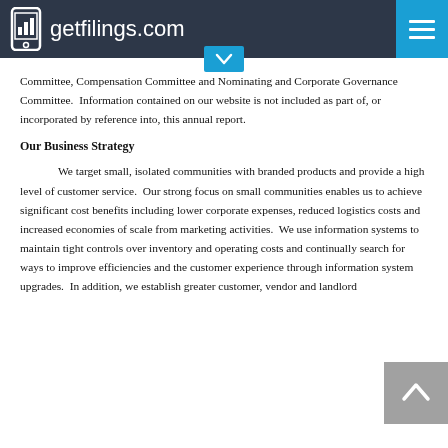getfilings.com
Committee, Compensation Committee and Nominating and Corporate Governance Committee.  Information contained on our website is not included as part of, or incorporated by reference into, this annual report.
Our Business Strategy
We target small, isolated communities with branded products and provide a high level of customer service.  Our strong focus on small communities enables us to achieve significant cost benefits including lower corporate expenses, reduced logistics costs and increased economies of scale from marketing activities.  We use information systems to maintain tight controls over inventory and operating costs and continually search for ways to improve efficiencies and the customer experience through information system upgrades.  In addition, we establish greater customer, vendor and landlord